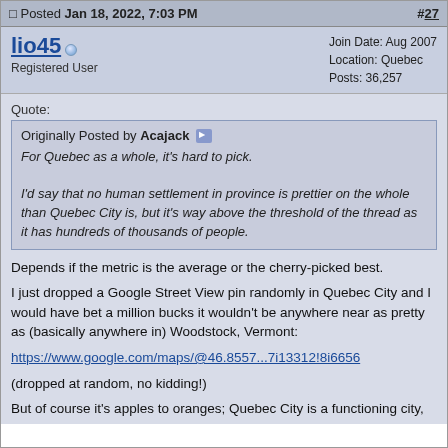Posted Jan 18, 2022, 7:03 PM   #27
lio45
Registered User
Join Date: Aug 2007
Location: Quebec
Posts: 36,257
Quote:
Originally Posted by Acajack
For Quebec as a whole, it's hard to pick.

I'd say that no human settlement in province is prettier on the whole than Quebec City is, but it's way above the threshold of the thread as it has hundreds of thousands of people.
Depends if the metric is the average or the cherry-picked best.

I just dropped a Google Street View pin randomly in Quebec City and I would have bet a million bucks it wouldn't be anywhere near as pretty as (basically anywhere in) Woodstock, Vermont:

https://www.google.com/maps/@46.8557...7i13312!8i6656

(dropped at random, no kidding!)

But of course it's apples to oranges; Quebec City is a functioning city, not a tiny village that can afford to obsess over architectural preservation and homogeneity.